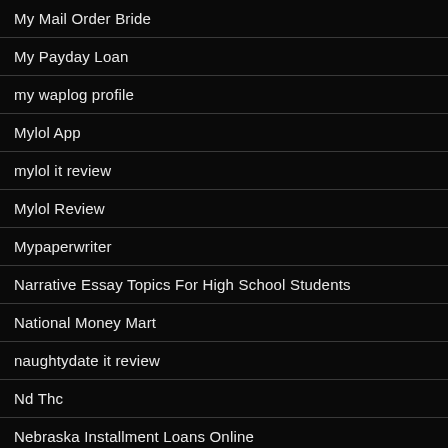My Mail Order Bride
My Payday Loan
my waplog profile
Mylol App
mylol it review
Mylol Review
Mypaperwriter
Narrative Essay Topics For High School Students
National Money Mart
naughtydate it review
Nd Thc
Nebraska Installment Loans Online
Nebraska Payday Loans Direct Lenders